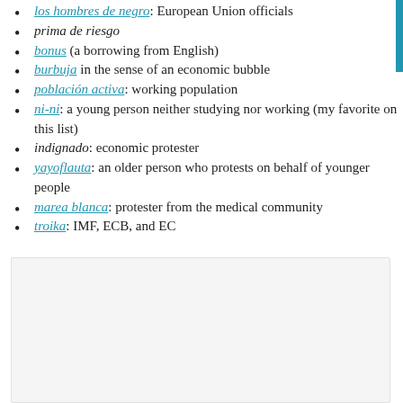los hombres de negro: European Union officials
prima de riesgo
bonus (a borrowing from English)
burbuja in the sense of an economic bubble
población activa: working population
ni-ni: a young person neither studying nor working (my favorite on this list)
indignado: economic protester
yayoflauta: an older person who protests on behalf of younger people
marea blanca: protester from the medical community
troika: IMF, ECB, and EC
[Figure (other): Gray box / embedded content area at bottom of page]